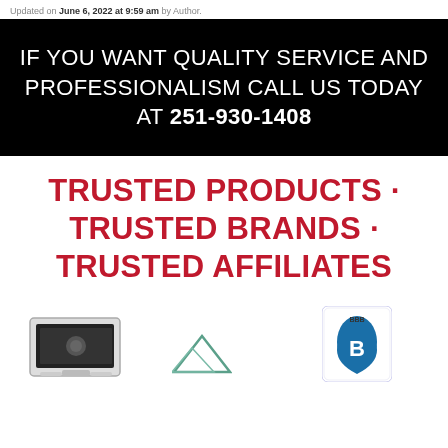Updated on June 6, 2022 at 9:59 am by Author.
IF YOU WANT QUALITY SERVICE AND PROFESSIONALISM CALL US TODAY AT 251-930-1408
TRUSTED PRODUCTS · TRUSTED BRANDS · TRUSTED AFFILIATES
[Figure (logo): Three logos at the bottom: a hardware/device image on the left, a mountain/peaks logo in the middle, and a BBB-style blue shield logo on the right]